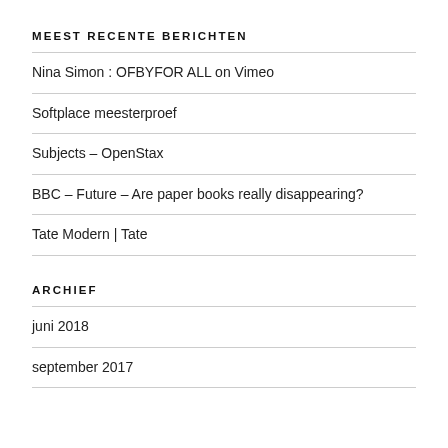MEEST RECENTE BERICHTEN
Nina Simon : OFBYFOR ALL on Vimeo
Softplace meesterproef
Subjects – OpenStax
BBC – Future – Are paper books really disappearing?
Tate Modern | Tate
ARCHIEF
juni 2018
september 2017